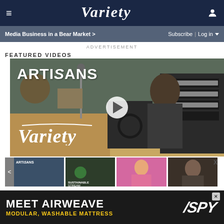Variety — navigation bar with logo, hamburger menu, and user icon
Media Business in a Bear Market > | Subscribe | Log in
ADVERTISEMENT
FEATURED VIDEOS
[Figure (screenshot): Video thumbnail showing a man playing flute in a recording studio with keyboards and equipment, overlaid with 'ARTISANS' text and Variety watermark logo and a play button.]
[Figure (screenshot): Row of four smaller video thumbnails: Artisans, Sustainable Stream, man in pink shirt, and dark thumbnail. Navigation arrow visible on left. X close button on right.]
[Figure (screenshot): Bottom advertisement banner: MEET AIRWEAVE / MODULAR, WASHABLE MATTRESS with SPY logo on dark background.]